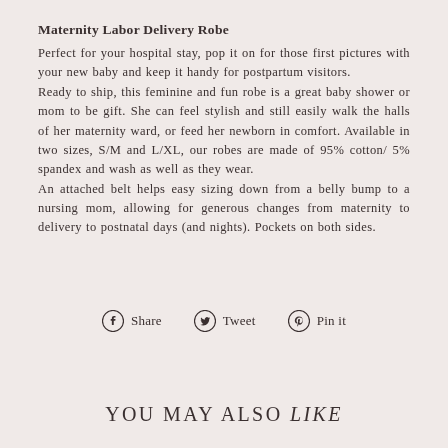Maternity Labor Delivery Robe
Perfect for your hospital stay, pop it on for those first pictures with your new baby and keep it handy for postpartum visitors. Ready to ship, this feminine and fun robe is a great baby shower or mom to be gift. She can feel stylish and still easily walk the halls of her maternity ward, or feed her newborn in comfort. Available in two sizes, S/M and L/XL, our robes are made of 95% cotton/ 5% spandex and wash as well as they wear. An attached belt helps easy sizing down from a belly bump to a nursing mom, allowing for generous changes from maternity to delivery to postnatal days (and nights). Pockets on both sides.
[Figure (infographic): Social sharing buttons: Facebook Share, Twitter Tweet, Pinterest Pin it]
YOU MAY ALSO LIKE